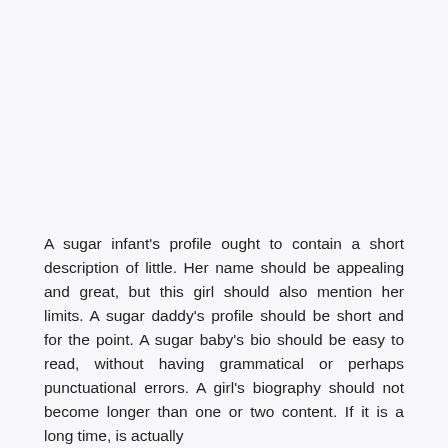A sugar infant's profile ought to contain a short description of little. Her name should be appealing and great, but this girl should also mention her limits. A sugar daddy's profile should be short and for the point. A sugar baby's bio should be easy to read, without having grammatical or perhaps punctuational errors. A girl's biography should not become longer than one or two content. If it is a long time, is actually